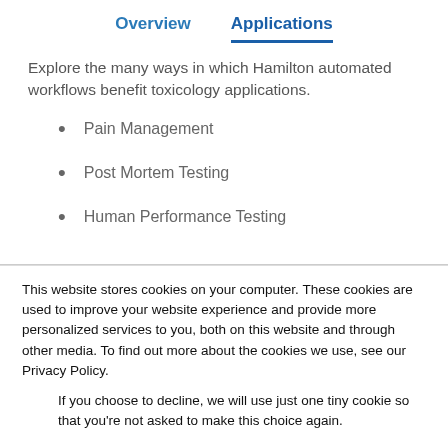Overview    Applications
Explore the many ways in which Hamilton automated workflows benefit toxicology applications.
Pain Management
Post Mortem Testing
Human Performance Testing
This website stores cookies on your computer. These cookies are used to improve your website experience and provide more personalized services to you, both on this website and through other media. To find out more about the cookies we use, see our Privacy Policy.
If you choose to decline, we will use just one tiny cookie so that you're not asked to make this choice again.